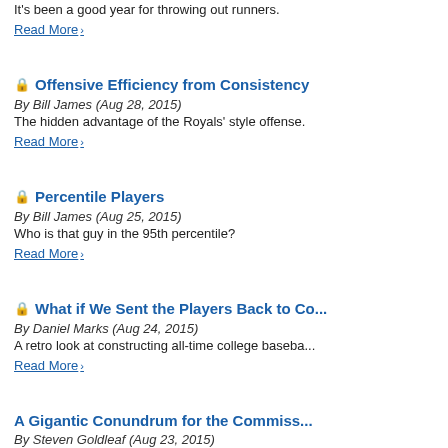By John Dewan (Aug 28, 2015)
It's been a good year for throwing out runners.
Read More
Offensive Efficiency from Consistency
By Bill James (Aug 28, 2015)
The hidden advantage of the Royals' style offense.
Read More
Percentile Players
By Bill James (Aug 25, 2015)
Who is that guy in the 95th percentile?
Read More
What if We Sent the Players Back to College
By Daniel Marks (Aug 24, 2015)
A retro look at constructing all-time college baseba...
Read More
A Gigantic Conundrum for the Commissioner
By Steven Goldleaf (Aug 23, 2015)
A brief digression, before we turn to other ludicrous...
Read More
Midgets' Class-Action Suit vs. MLB